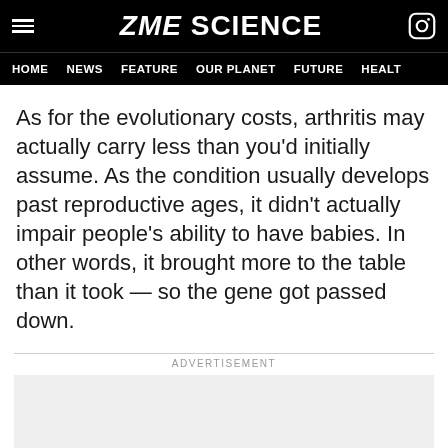ZME SCIENCE
HOME  NEWS  FEATURE  OUR PLANET  FUTURE  HEALTH
As for the evolutionary costs, arthritis may actually carry less than you'd initially assume. As the condition usually develops past reproductive ages, it didn't actually impair people's ability to have babies. In other words, it brought more to the table than it took — so the gene got passed down.
ADVERTISEMENT